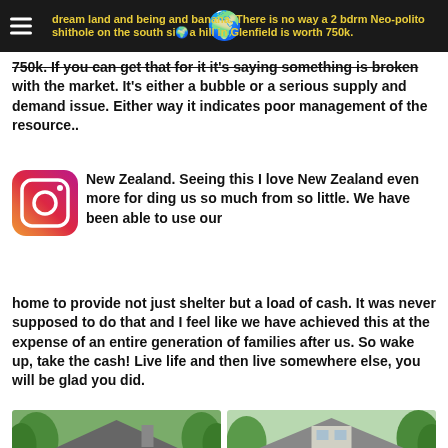dream land and being and banana. There is no way a 2 bdrm Neo-polito shithole on the south side of a hill in Glenfield is worth 750k.
750k. If you can get that for it it's saying something is broken with the market. It's either a bubble or a serious supply and demand issue. Either way it indicates poor management of the resource..
New Zealand. Seeing this I love New Zealand even more for giving us so much from so little. We have been able to use our home to provide not just shelter but a load of cash. It was never supposed to do that and I feel like we have achieved this at the expense of an entire generation of families after us. So wake up, take the cash! Live life and then live somewhere else, you will be glad you did.
[Figure (photo): Two house photos side by side - left shows a brick house with trees, right shows a white craftsman-style house with trees]